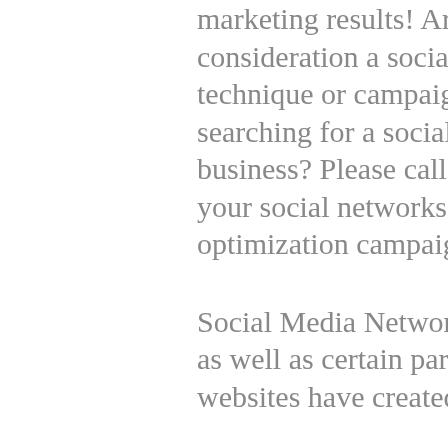marketing results! Are you taking into consideration a social marketing technique or campaign? Are you searching for a social networks services business? Please call us today to begin your social networks media optimization campaign!
Social Media Networks are enhancing as well as certain particular niche social websites have created. Social Media...